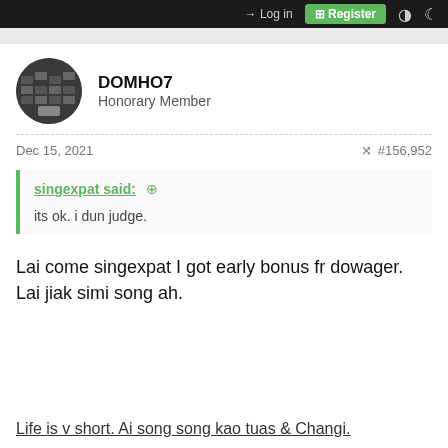Log in | Register
DOMHO7
Honorary Member
Dec 15, 2021   #156,952
singexpat said:
its ok. i dun judge.
Lai come singexpat I got early bonus fr dowager. Lai jiak simi song ah.
Life is v short. Ai song song kao tuas & Changi.